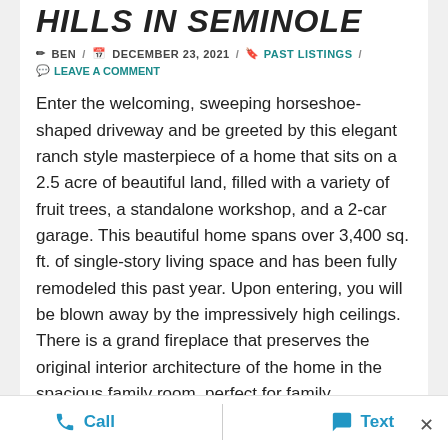HILLS IN SEMINOLE
BEN / DECEMBER 23, 2021 / PAST LISTINGS / LEAVE A COMMENT
Enter the welcoming, sweeping horseshoe-shaped driveway and be greeted by this elegant ranch style masterpiece of a home that sits on a 2.5 acre of beautiful land, filled with a variety of fruit trees, a standalone workshop, and a 2-car garage. This beautiful home spans over 3,400 sq. ft. of single-story living space and has been fully remodeled this past year. Upon entering, you will be blown away by the impressively high ceilings. There is a grand fireplace that preserves the original interior architecture of the home in the spacious family room, perfect for family gatherings and holiday events. Left of the family room is the kitchen, which conserves the original brick in the stove's nook filling it with personality; the kitchen also has an extended breakfast
Call   Text